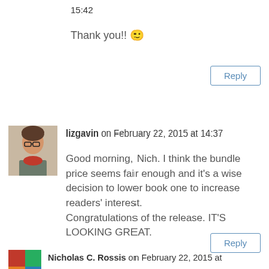15:42
Thank you!! 🙂
Reply
[Figure (photo): Avatar photo of lizgavin, a person with glasses and a red scarf]
lizgavin on February 22, 2015 at 14:37
Good morning, Nich. I think the bundle price seems fair enough and it's a wise decision to lower book one to increase readers' interest. Congratulations of the release. IT'S LOOKING GREAT.
Reply
[Figure (photo): Avatar photo of Nicholas C. Rossis]
Nicholas C. Rossis on February 22, 2015 at